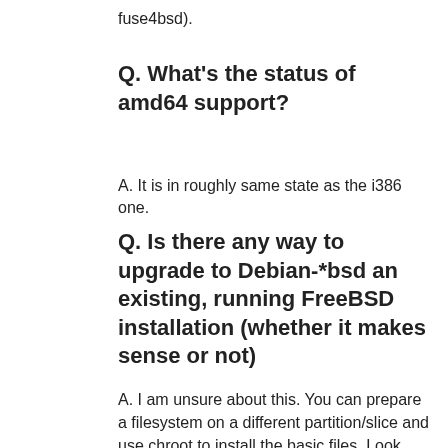fuse4bsd).
Q. What's the status of amd64 support?
A. It is in roughly same state as the i386 one.
Q. Is there any way to upgrade to Debian-*bsd an existing, running FreeBSD installation (whether it makes sense or not)
A. I am unsure about this. You can prepare a filesystem on a different partition/slice and use chroot to install the basic files. Look inside the latest ISO, there is base/base.tgz inside install.iso. Unpack it into the created chroot. But at least multi-threaded programs will not work under pristine FreeBSD kernel.